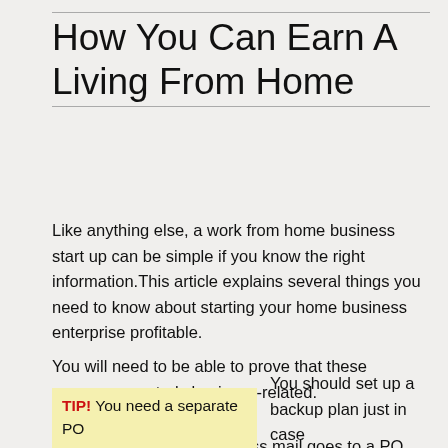How You Can Earn A Living From Home
Like anything else, a work from home business start up can be simple if you know the right information.This article explains several things you need to know about starting your home business enterprise profitable.
You will need to be able to prove that these expenses are truly business-related.
Make sure that your business mail goes to a PO Box address. Don't put your home address on the Internet if you don't have to. This way, you protect yourself and your family.
TIP! You need a separate PO
You should set up a backup plan just in case